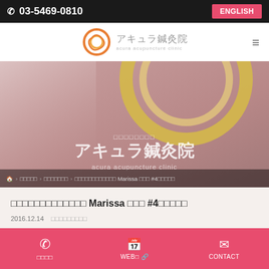📞 03-5469-0810  ENGLISH
[Figure (logo): Acura Acupuncture Clinic logo with circular orange/gold swirl graphic, Japanese text アキュラ鍼灸院 and English text acura acupuncture clinic]
[Figure (photo): Interior photo of Acura Acupuncture Clinic showing signage with gold circular logo and Japanese clinic name アキュラ鍼灸院 and acura acupuncture clinic text on a mauve wall]
🏠 > □□□□□ > □□□□□□□ > □□□□□□□□□□□□ Marissa □□□ #4□□□□□
□□□□□□□□□□□□□ Marissa □□□ #4□□□□□
2016.12.14  □□□□□□□□□
📞 □□□□  WEB□ 🔗  CONTACT